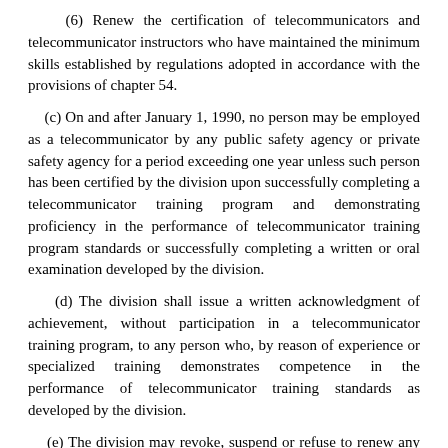(6) Renew the certification of telecommunicators and telecommunicator instructors who have maintained the minimum skills established by regulations adopted in accordance with the provisions of chapter 54.
(c) On and after January 1, 1990, no person may be employed as a telecommunicator by any public safety agency or private safety agency for a period exceeding one year unless such person has been certified by the division upon successfully completing a telecommunicator training program and demonstrating proficiency in the performance of telecommunicator training program standards or successfully completing a written or oral examination developed by the division.
(d) The division shall issue a written acknowledgment of achievement, without participation in a telecommunicator training program, to any person who, by reason of experience or specialized training demonstrates competence in the performance of telecommunicator training standards as developed by the division.
(e) The division may revoke, suspend or refuse to renew any certificate if: (1) The certificate was issued by administrative